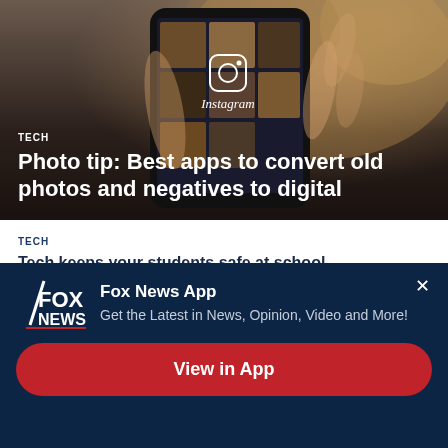[Figure (photo): Hand holding a smartphone displaying the Instagram app logo and photo grid against a blurred warm background]
TECH
Photo tip: Best apps to convert old photos and negatives to digital
TECH
Tech keeps your students safe at school
TECH
[Figure (screenshot): Fox News App promotional banner with logo, tagline 'Get the Latest in News, Opinion, Video and More!' and 'View in App' button]
Fox News App
Get the Latest in News, Opinion, Video and More!
View in App